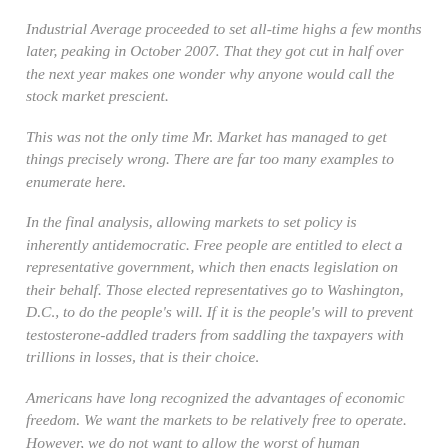Industrial Average proceeded to set all-time highs a few months later, peaking in October 2007. That they got cut in half over the next year makes one wonder why anyone would call the stock market prescient.
This was not the only time Mr. Market has managed to get things precisely wrong. There are far too many examples to enumerate here.
In the final analysis, allowing markets to set policy is inherently antidemocratic. Free people are entitled to elect a representative government, which then enacts legislation on their behalf. Those elected representatives go to Washington, D.C., to do the people's will. If it is the people's will to prevent testosterone-addled traders from saddling the taxpayers with trillions in losses, that is their choice.
Americans have long recognized the advantages of economic freedom. We want the markets to be relatively free to operate. However, we do not want to allow the worst of human behaviors to have free rein. Complaints about regulating markets are actually objections to proscribing the